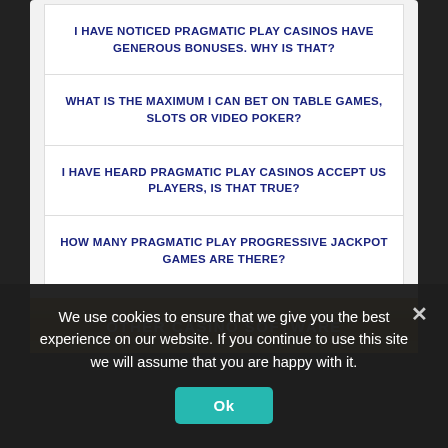I HAVE NOTICED PRAGMATIC PLAY CASINOS HAVE GENEROUS BONUSES. WHY IS THAT?
WHAT IS THE MAXIMUM I CAN BET ON TABLE GAMES, SLOTS OR VIDEO POKER?
I HAVE HEARD PRAGMATIC PLAY CASINOS ACCEPT US PLAYERS, IS THAT TRUE?
HOW MANY PRAGMATIC PLAY PROGRESSIVE JACKPOT GAMES ARE THERE?
OTHER CASINO SOFTWARE
We use cookies to ensure that we give you the best experience on our website. If you continue to use this site we will assume that you are happy with it.